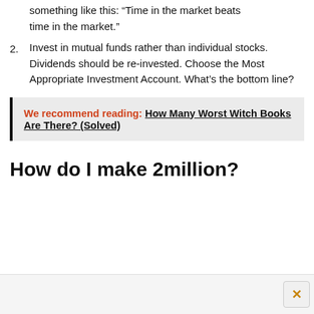something like this: “Time in the market beats time in the market.”
2. Invest in mutual funds rather than individual stocks. Dividends should be re-invested. Choose the Most Appropriate Investment Account. What’s the bottom line?
We recommend reading: How Many Worst Witch Books Are There? (Solved)
How do I make 2million?